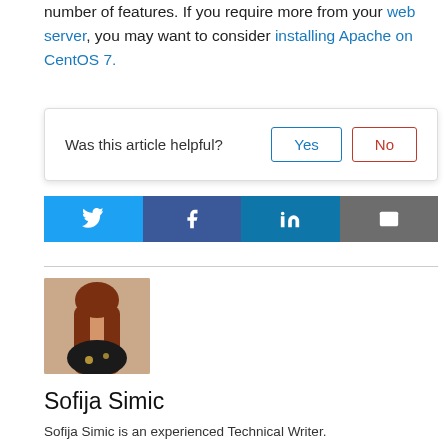number of features. If you require more from your web server, you may want to consider installing Apache on CentOS 7.
[Figure (other): Article feedback widget with 'Was this article helpful?' question and Yes/No buttons]
[Figure (infographic): Social sharing buttons: Twitter, Facebook, LinkedIn, Email]
[Figure (photo): Author photo of Sofija Simic, a woman with long red/auburn hair]
Sofija Simic
Sofija Simic is an experienced Technical Writer.